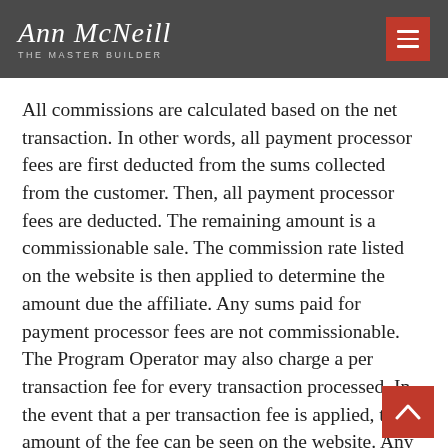Ann McNeill THE MASTER BUILDER
All commissions are calculated based on the net transaction. In other words, all payment processor fees are first deducted from the sums collected from the customer. Then, all payment processor fees are deducted. The remaining amount is a commissionable sale. The commission rate listed on the website is then applied to determine the amount due the affiliate. Any sums paid for payment processor fees are not commissionable. The Program Operator may also charge a per transaction fee for every transaction processed. In the event that a per transaction fee is applied, the amount of the fee can be seen on the website. Any such fee is not commissionable and is also deducted from the sums paid by the customer,